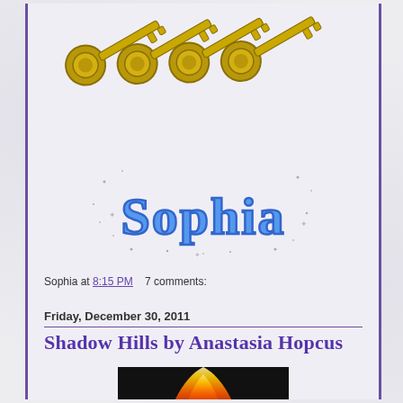[Figure (illustration): Four golden/brass keys arranged in a row, slightly overlapping, on a white/light background]
[Figure (illustration): Decorative cursive text reading 'Sophia' in blue with sparkle/star decorations around it]
Sophia at 8:15 PM    7 comments:
Friday, December 30, 2011
Shadow Hills by Anastasia Hopcus
[Figure (photo): Book cover image showing red and orange flame-like abstract design on black background]